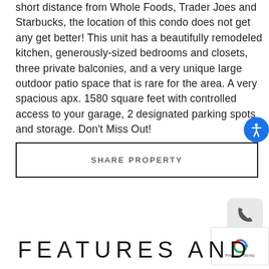short distance from Whole Foods, Trader Joes and Starbucks, the location of this condo does not get any get better! This unit has a beautifully remodeled kitchen, generously-sized bedrooms and closets, three private balconies, and a very unique large outdoor patio space that is rare for the area. A very spacious apx. 1580 square feet with controlled access to your garage, 2 designated parking spots and storage. Don't Miss Out!
SHARE PROPERTY
FEATURES AND